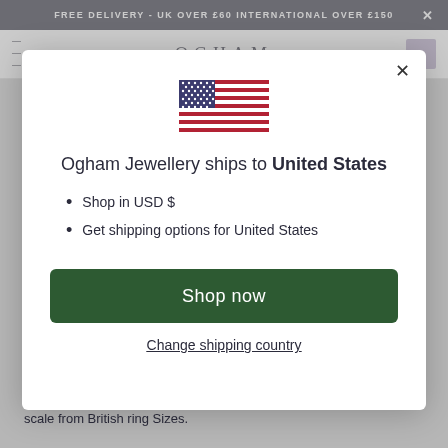FREE DELIVERY - UK OVER £60 INTERNATIONAL OVER £150 ×
[Figure (screenshot): Website header with OGHAM logo and hamburger menu]
[Figure (illustration): US flag emoji/icon centered in modal]
Ogham Jewellery ships to United States
Shop in USD $
Get shipping options for United States
Shop now
Change shipping country
scale from British ring Sizes.